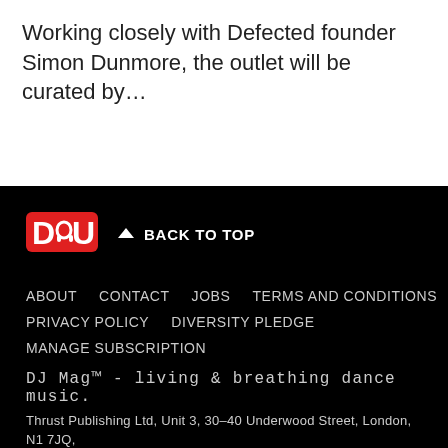Working closely with Defected founder Simon Dunmore, the outlet will be curated by…
DJ Mag™ - living & breathing dance music. Thrust Publishing Ltd, Unit 3, 30-40 Underwood Street, London, N1 7JQ, United Kingdom. Tel: +44(0)7940488008